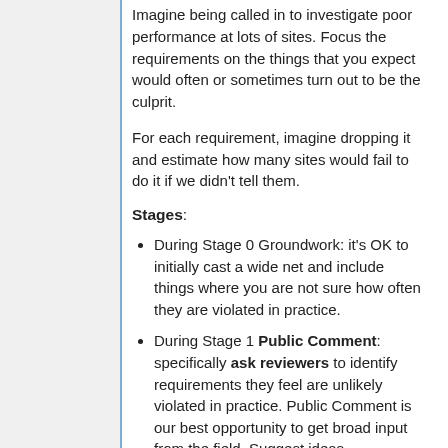Imagine being called in to investigate poor performance at lots of sites. Focus the requirements on the things that you expect would often or sometimes turn out to be the culprit.
For each requirement, imagine dropping it and estimate how many sites would fail to do it if we didn't tell them.
Stages:
During Stage 0 Groundwork: it's OK to initially cast a wide net and include things where you are not sure how often they are violated in practice.
During Stage 1 Public Comment: specifically ask reviewers to identify requirements they feel are unlikely violated in practice. Public Comment is our best opportunity to get broad input from the field. Suggest ideas.